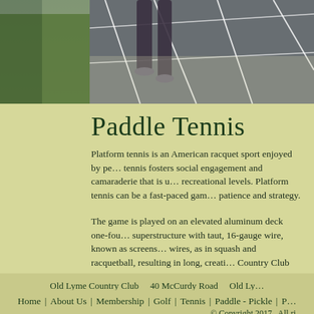[Figure (photo): Top photo showing legs of a person playing paddle tennis on an elevated aluminum deck court with white lines, viewed from above. Green trees visible on the left side.]
Paddle Tennis
Platform tennis is an American racquet sport enjoyed by pe... tennis fosters social engagement and camaraderie that is u... recreational levels. Platform tennis can be a fast-paced ga... patience and strategy.
The game is played on an elevated aluminum deck one-fou... superstructure with taut, 16-gauge wire, known as screens... wires, as in squash and racquetball, resulting in long, creati... Country Club are lighted to allow for evening play through... allowing for a heating system beneath the playing surface.... to play outdoors in all weather conditions. The paddle ten... the game can be played year-round.
Old Lyme Country Club    40 McCurdy Road    Old Ly...
Home  |  About Us  |  Membership  |  Golf  |  Tennis  |  Paddle - Pickle  |  P...  © Copyright 2017.  All ri...